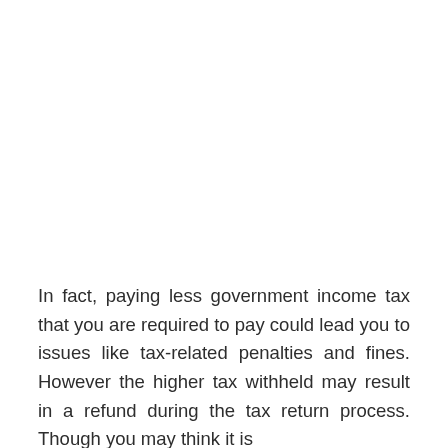In fact, paying less government income tax that you are required to pay could lead you to issues like tax-related penalties and fines. However the higher tax withheld may result in a refund during the tax return process. Though you may think it is